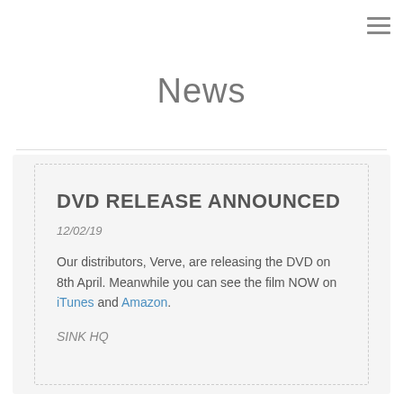≡
News
DVD RELEASE ANNOUNCED
12/02/19
Our distributors, Verve, are releasing the DVD on 8th April. Meanwhile you can see the film NOW on iTunes and Amazon.
SINK HQ